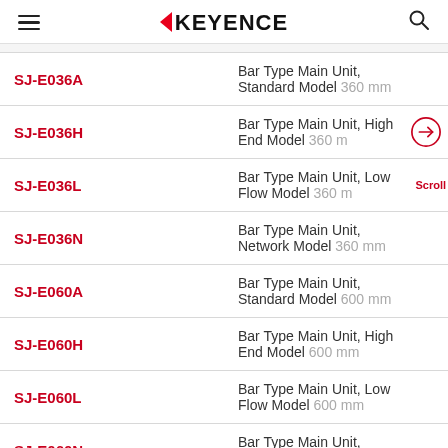KEYENCE
| Model | Description |
| --- | --- |
| SJ-E036A | Bar Type Main Unit, Standard Model 360 mm |
| SJ-E036H | Bar Type Main Unit, High End Model 360 mm |
| SJ-E036L | Bar Type Main Unit, Low Flow Model 360 mm |
| SJ-E036N | Bar Type Main Unit, Network Model 360 mm |
| SJ-E060A | Bar Type Main Unit, Standard Model 600 mm |
| SJ-E060H | Bar Type Main Unit, High End Model 600 mm |
| SJ-E060L | Bar Type Main Unit, Low Flow Model 600 mm |
| SJ-E060N | Bar Type Main Unit, Network Model 600 mm |
| SJ-E084A | Bar Type Main Unit, Standard Model 840 mm |
| SJ-E084H | Bar Type Main Unit, High End Model 840 mm |